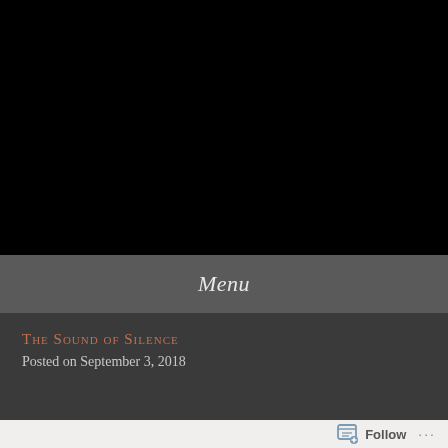[Figure (photo): Large black area occupying the top portion of the page, likely a dark/black image or video placeholder]
Menu
The Sound of Silence
Posted on September 3, 2018
Follow ...